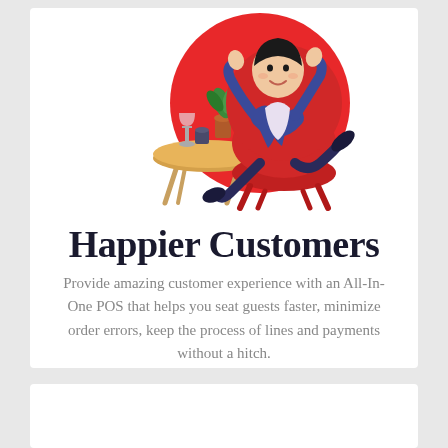[Figure (illustration): Illustration of a happy person sitting relaxed in a red round chair with arms raised, beside a small round table with a plant, wine glass, and cup on it.]
Happier Customers
Provide amazing customer experience with an All-In-One POS that helps you seat guests faster, minimize order errors, keep the process of lines and payments without a hitch.